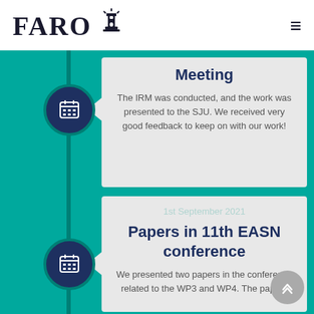FARO [lighthouse logo] ≡
Meeting
The IRM was conducted, and the work was presented to the SJU. We received very good feedback to keep on with our work!
1st September 2021
Papers in 11th EASN conference
We presented two papers in the conference related to the WP3 and WP4. The papers